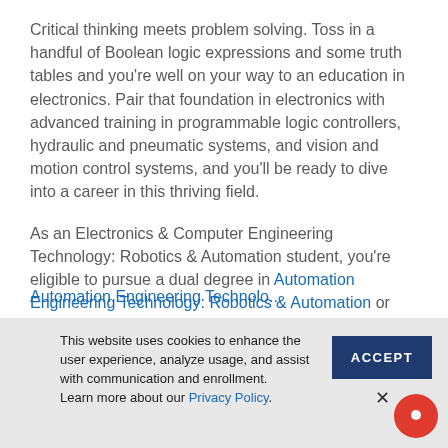Critical thinking meets problem solving. Toss in a handful of Boolean logic expressions and some truth tables and you're well on your way to an education in electronics. Pair that foundation in electronics with advanced training in programmable logic controllers, hydraulic and pneumatic systems, and vision and motion control systems, and you'll be ready to dive into a career in this thriving field.
As an Electronics & Computer Engineering Technology: Robotics & Automation student, you're eligible to pursue a dual degree in Automation Engineering Technology: Robotics & Automation or Building Automation Engineering Technology...
[Figure (screenshot): Cookie consent banner with text: 'This website uses cookies to enhance the user experience, analyze usage, and assist with communication and enrollment. Learn more about our Privacy Policy.' with ACCEPT button and close X, and a red chat bubble icon.]